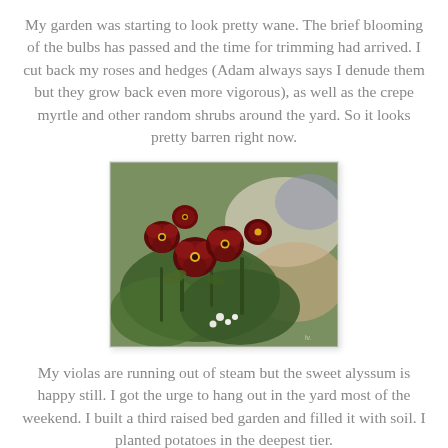My garden was starting to look pretty wane. The brief blooming of the bulbs has passed and the time for trimming had arrived. I cut back my roses and hedges (Adam always says I denude them but they grow back even more vigorous), as well as the crepe myrtle and other random shrubs around the yard. So it looks pretty barren right now.
[Figure (photo): Close-up photo of dark red/maroon pansy flowers with yellow centers, surrounded by green foliage and blurred white and purple flowers in the background.]
My violas are running out of steam but the sweet alyssum is happy still. I got the urge to hang out in the yard most of the weekend. I built a third raised bed garden and filled it with soil. I planted potatoes in the deepest tier.